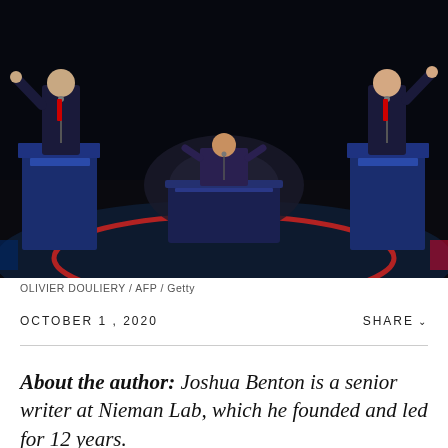[Figure (photo): Presidential debate scene showing two candidates at podiums on left and right, with a moderator seated at a desk in the center, on a dark stage with blue carpet and a red circular design on the floor.]
OLIVIER DOULIERY / AFP / Getty
OCTOBER 1, 2020
SHARE
About the author: Joshua Benton is a senior writer at Nieman Lab, which he founded and led for 12 years.